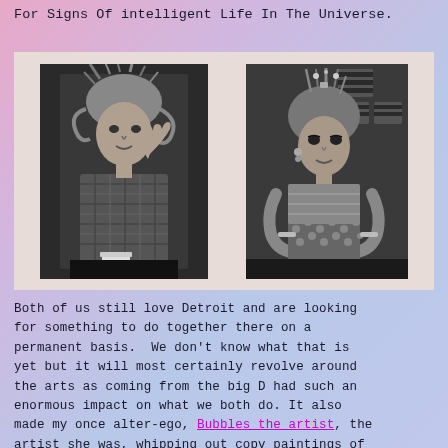For Signs Of intelligent Life In The Universe.
[Figure (photo): Two black-and-white photographs side by side. Left: a woman with wild spiked hair wearing a plaid jacket, seated with a coffee cup, hand raised. Right: a woman with spiked hair decorated with pins/accessories, wearing a patterned outfit, arms crossed.]
Both of us still love Detroit and are looking for something to do together there on a permanent basis.  We don't know what that is yet but it will most certainly revolve around the arts as coming from the big D had such an enormous impact on what we both do. It also made my once alter-ego, Bubbles the artist, the artist she was, whipping out copy paintings of Lily's character, Ernestine, like they were on